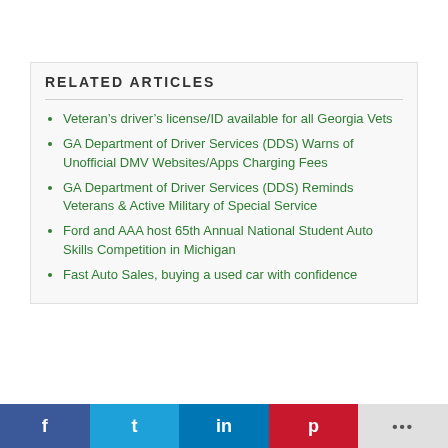RELATED ARTICLES
Veteran's driver's license/ID available for all Georgia Vets
GA Department of Driver Services (DDS) Warns of Unofficial DMV Websites/Apps Charging Fees
GA Department of Driver Services (DDS) Reminds Veterans & Active Military of Special Service
Ford and AAA host 65th Annual National Student Auto Skills Competition in Michigan
Fast Auto Sales, buying a used car with confidence
f  t  in  p  ...